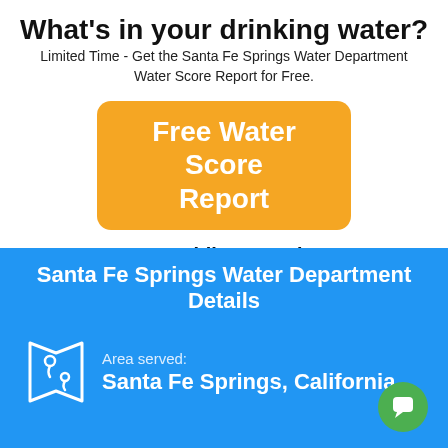What's in your drinking water?
Limited Time - Get the Santa Fe Springs Water Department Water Score Report for Free.
[Figure (other): Orange/yellow rounded button with text 'Free Water Score Report']
US Public Records
Santa Fe Springs Water Department Details
Area served: Santa Fe Springs, California